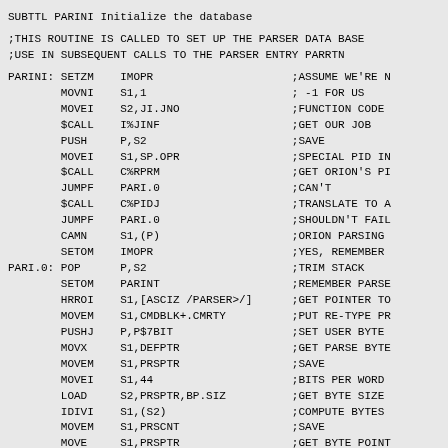SUBTTL  PARINI  Initialize the database
;THIS ROUTINE IS CALLED TO SET UP THE PARSER DATA BASE
;USE IN SUBSEQUENT CALLS TO THE PARSER ENTRY PARRTN
PARINI: SETZM    IMOPR                     ;ASSUME WE'RE N
        MOVNI    S1,1                      ; -1 FOR US
        MOVEI    S2,JI.JNO                 ;FUNCTION CODE
        $CALL    I%JINF                    ;GET OUR JOB
        PUSH     P,S2                      ;SAVE
        MOVEI    S1,SP.OPR                 ;SPECIAL PID IN
        $CALL    C%RPRM                    ;GET ORION'S PI
        JUMPF    PARI.0                    ;CAN'T
        $CALL    C%PIDJ                    ;TRANSLATE TO A
        JUMPF    PARI.0                    ;SHOULDN'T FAIL
        CAMN     S1,(P)                    ;ORION PARSING
        SETOM    IMOPR                     ;YES, REMEMBER
PARI.0: POP      P,S2                      ;TRIM STACK
        SETOM    PARINT                    ;REMEMBER PARSE
        HRROI    S1,[ASCIZ /PARSER>/]      ;GET POINTER TO
        MOVEM    S1,CMDBLK+.CMRTY          ;PUT RE-TYPE PR
        PUSHJ    P,P$7BIT                  ;SET USER BYTE
        MOVX     S1,DEFPTR                 ;GET PARSE BYTE
        MOVEM    S1,PRSPTR                 ;SAVE
        MOVEI    S1,44                     ;BITS PER WORD
        LOAD     S2,PRSPTR,BP.SIZ          ;GET BYTE SIZE
        IDIVI    S1,(S2)                   ;COMPUTE BYTES
        MOVEM    S1,PRSCNT                 ;SAVE
        MOVE     S1,PRSPTR                 ;GET BYTE POINT
        HPPI     S1,BUFFER                 ;GET POINTER TO